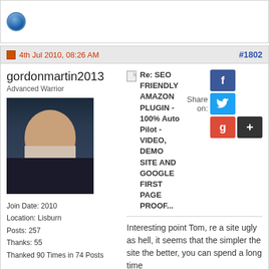[Figure (illustration): Blue circle / sphere icon]
4th Jul 2010, 08:26 AM
#1802
gordonmartin2013
Advanced Warrior
[Figure (photo): Profile photo of a balding man in a dark suit with a tie, smiling]
Join Date: 2010
Location: Lisburn
Posts: 257
Thanks: 55
Thanked 90 Times in 74 Posts
Re: SEO FRIENDLY AMAZON PLUGIN - 100% Auto Pilot - VIDEO, DEMO SITE AND GOOGLE FIRST PAGE PROOF...
Interesting point Tom, re a site ugly as hell, it seems that the simpler the site the better, you can spend a long time